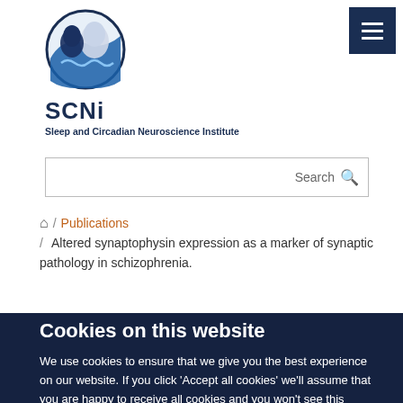[Figure (logo): SCNi circular logo with brain silhouette and sleep wave imagery in blue tones]
SCNi
Sleep and Circadian Neuroscience Institute
Search
/ Publications / Altered synaptophysin expression as a marker of synaptic pathology in schizophrenia.
Cookies on this website
We use cookies to ensure that we give you the best experience on our website. If you click 'Accept all cookies' we'll assume that you are happy to receive all cookies and you won't see this message again. If you click 'Reject all non-essential cookies' only necessary cookies providing core functionality such as security, network management,